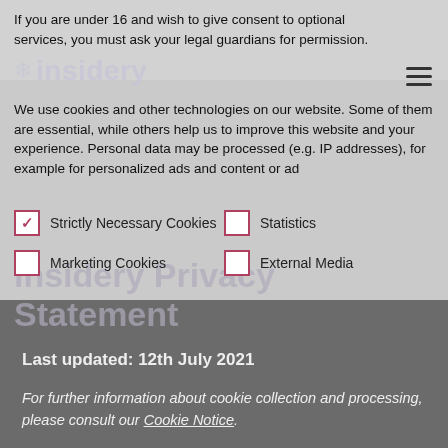If you are under 16 and wish to give consent to optional services, you must ask your legal guardians for permission.
We use cookies and other technologies on our website. Some of them are essential, while others help us to improve this website and your experience. Personal data may be processed (e.g. IP addresses), for example for personalized ads and content or ad
✓ Strictly Necessary Cookies
☐ Statistics
☐ Marketing Cookies
☐ External Media
insidery Privacy Statement
Last updated: 12th July 2021
For further information about cookie collection and processing, please consult our Cookie Notice.
insidery GmbH, Neumarkter Str. 21, D-81673 Munich, Germany ("insidery") is responsible